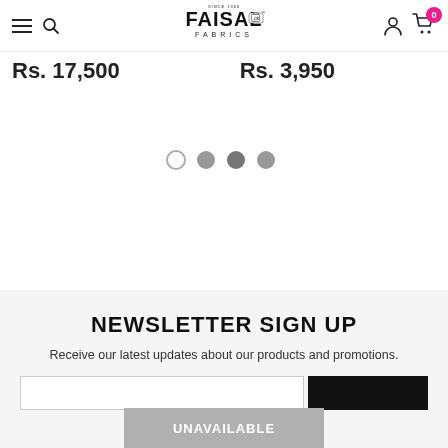Faisal Fabrics navigation bar with logo, hamburger menu, search, account, and cart icons
Rs. 17,500
Rs. 3,950
[Figure (other): Pagination dots: 4 circles, first empty/outline, second through fourth filled grey]
NEWSLETTER SIGN UP
Receive our latest updates about our products and promotions.
[Figure (other): Newsletter signup form with email input field and dark subscribe button]
UNAVAILABLE